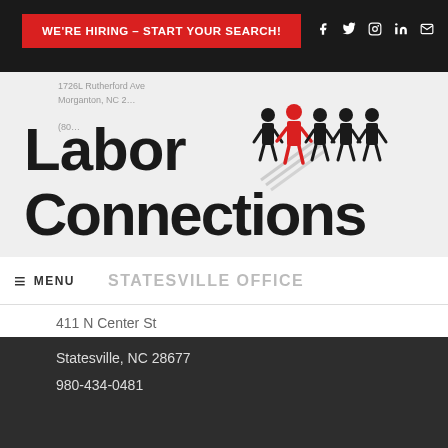WE'RE HIRING – START YOUR SEARCH!
[Figure (logo): Labor Connections logo with people icon figures including one highlighted in red]
STATESVILLE OFFICE
411 N Center St
Statesville, NC 28677
980-434-0481
© 2022 Labor Connections, LLC. BH Media Group in partnership with Morganton News Herald. All Rights Reserved.